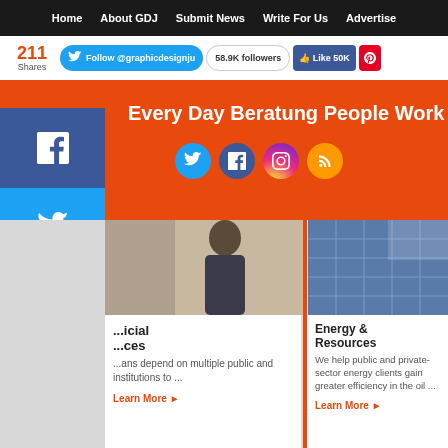Home | About GDJ | Submit News | Write For Us | Advertise
211 Shares | Follow @graphicdesignju | 58.9K followers | Like 50K
[Figure (screenshot): Orange banner with text 'Every Day Beratung People Work wi...' and social media icons (Twitter, Facebook, Instagram, RSS)]
[Figure (screenshot): Social share sidebar with Facebook, Twitter, LinkedIn, Pinterest buttons and a + more button]
[Figure (photo): Photo of a man in a suit on the phone, partial view]
[Figure (photo): Photo of Hollywood Bl street sign with palm trees]
[Figure (photo): Photo of solar panels]
...icial ...ces ...ans depend on multiple public and institutions to ...
Civil Government
Whether ensuring the safety, security, & well-being of citizens or boosting ...
Energy & Resources
We help public and private-sector energy clients gain greater efficiency in the oil ...
Learn More
Learn More
Learn More